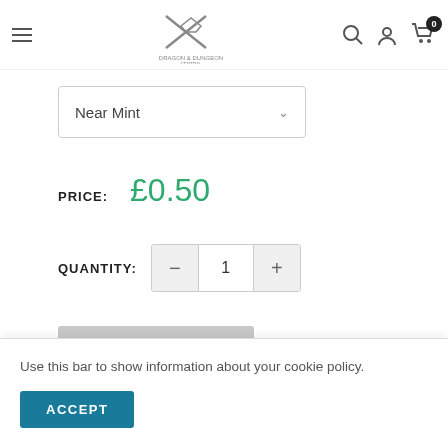Navigation header with hamburger menu, logo, search, account, and cart icons
Near Mint
PRICE: £0.50
QUANTITY: 1
SOLD OUT
Use this bar to show information about your cookie policy.
ACCEPT